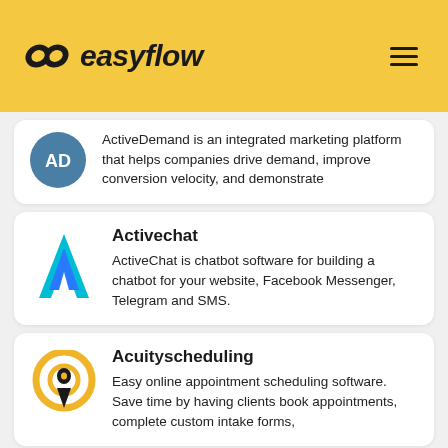easyflow
ActiveDemand is an integrated marketing platform that helps companies drive demand, improve conversion velocity, and demonstrate
Activechat
ActiveChat is chatbot software for building a chatbot for your website, Facebook Messenger, Telegram and SMS.
Acuityscheduling
Easy online appointment scheduling software. Save time by having clients book appointments, complete custom intake forms,